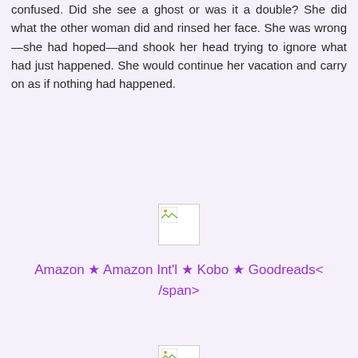confused. Did she see a ghost or was it a double? She did what the other woman did and rinsed her face. She was wrong—she had hoped—and shook her head trying to ignore what had just happened. She would continue her vacation and carry on as if nothing had happened.
[Figure (other): Broken/missing image placeholder (small)]
Amazon ★ Amazon Int'l ★ Kobo ★ Goodreads< /span>
[Figure (other): Broken/missing image placeholder (small)]
[Figure (other): Broken/missing image placeholder (large rectangle)]